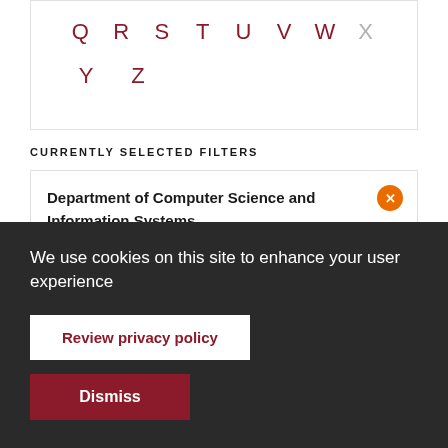Q R S T U V W X Y Z
CURRENTLY SELECTED FILTERS
Department of Computer Science and Information Systems
We use cookies on this site to enhance your user experience
Review privacy policy
Dismiss